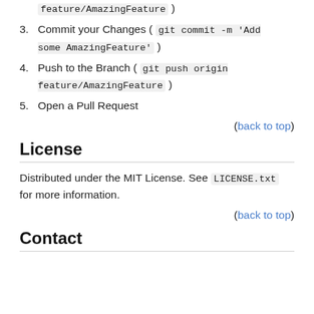feature/AmazingFeature )
3. Commit your Changes ( git commit -m 'Add some AmazingFeature' )
4. Push to the Branch ( git push origin feature/AmazingFeature )
5. Open a Pull Request
(back to top)
License
Distributed under the MIT License. See LICENSE.txt for more information.
(back to top)
Contact